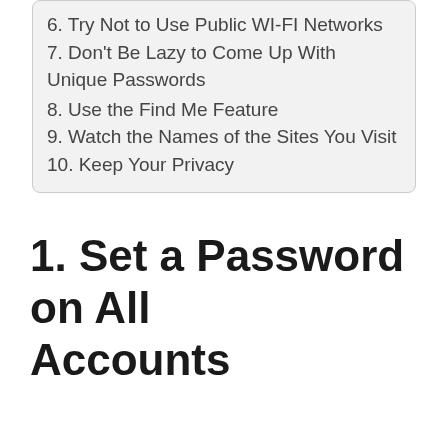6. Try Not to Use Public WI-FI Networks
7. Don't Be Lazy to Come Up With Unique Passwords
8. Use the Find Me Feature
9. Watch the Names of the Sites You Visit
10. Keep Your Privacy
1. Set a Password on All Accounts